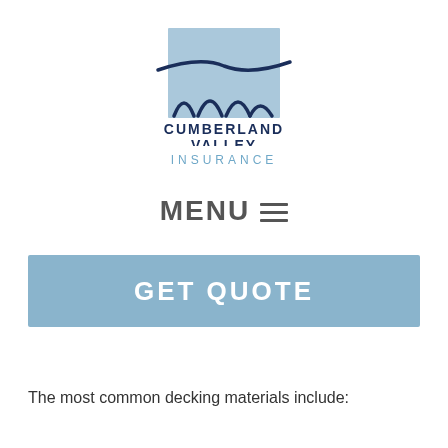[Figure (logo): Cumberland Valley Insurance logo with light blue rectangular background, dark navy wave/arch shapes at bottom, and a dark navy horizontal swoosh line across the top of the rectangle]
CUMBERLAND VALLEY INSURANCE
MENU ≡
GET QUOTE
The most common decking materials include: